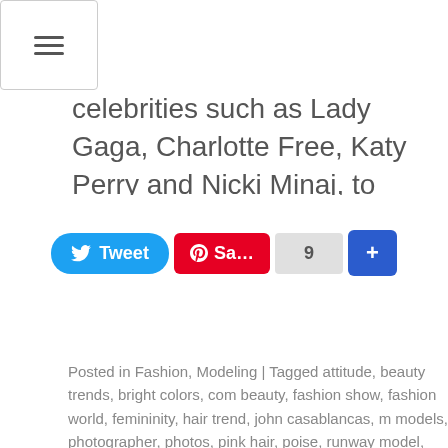[Figure (other): Hamburger menu navigation button icon]
celebrities such as Lady Gaga, Charlotte Free, Katy Perry and Nicki Minaj, to name just a … Continue rea
[Figure (other): Social sharing buttons: Tweet, Save (Pinterest), count 9, and Google+ button]
Posted in Fashion, Modeling | Tagged attitude, beauty trends, bright colors, com beauty, fashion show, fashion world, femininity, hair trend, john casablancas, m models, photographer, photos, pink hair, poise, runway model, runway modelin follower, trend setter, trend setters | Leave a comment